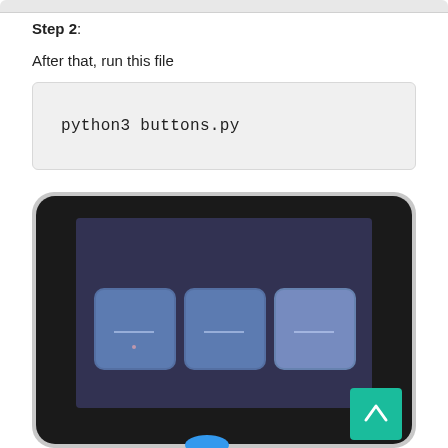Step 2: After that, run this file
python3 buttons.py
[Figure (photo): A touchscreen display device showing three rounded square buttons on a dark screen background. A teal/green scroll-to-top button is visible in the bottom-right corner of the interface. A blue element is partially visible at the bottom of the device.]